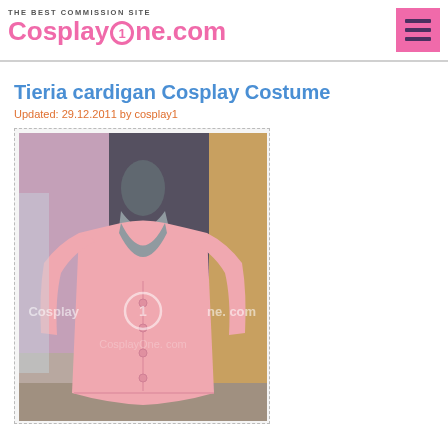CosplayOne.com — THE BEST COMMISSION SITE
Tieria cardigan Cosplay Costume
Updated: 29.12.2011 by cosplay1
[Figure (photo): Pink cardigan cosplay costume displayed on a mannequin in a costume shop, with CosplayOne.com watermark overlay]